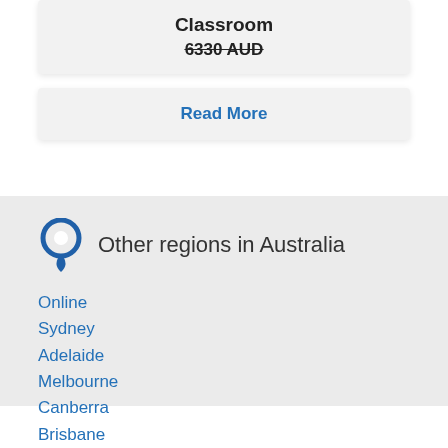Classroom
6330 AUD
Read More
Other regions in Australia
Online
Sydney
Adelaide
Melbourne
Canberra
Brisbane